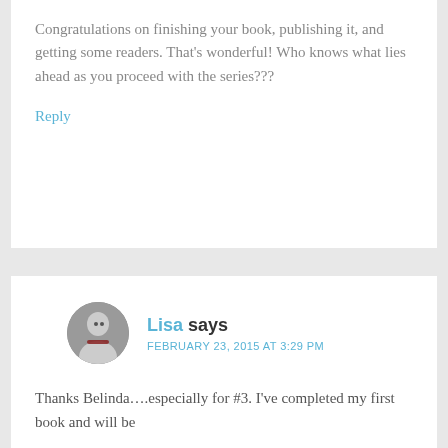Congratulations on finishing your book, publishing it, and getting some readers. That's wonderful! Who knows what lies ahead as you proceed with the series???
Reply
Lisa says
FEBRUARY 23, 2015 AT 3:29 PM
Thanks Belinda….especially for #3. I've completed my first book and will be